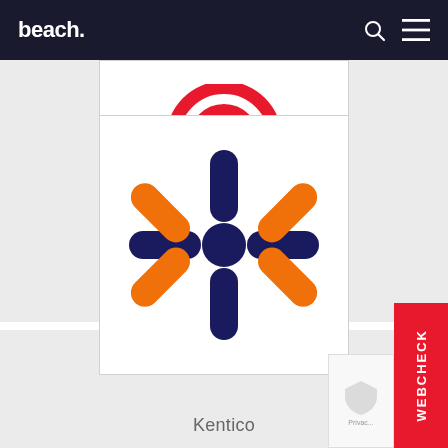beach.
[Figure (logo): SiteCore logo - red circular shape on white background]
SiteCore
[Figure (logo): Kentico logo - orange and dark navy blue asterisk/snowflake star shape on white background]
Kentico